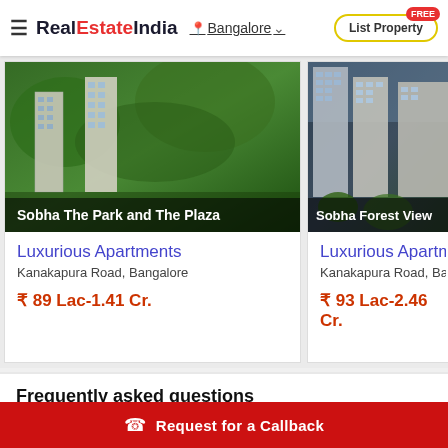RealEstateIndia  Bangalore  List Property FREE
[Figure (photo): Aerial photo of Sobha The Park and The Plaza luxury apartment towers surrounded by green trees]
Sobha The Park and The Plaza
Luxurious Apartments
Kanakapura Road, Bangalore
₹ 89 Lac-1.41 Cr.
[Figure (photo): Photo of Sobha Forest View high-rise apartment towers]
Sobha Forest View
Luxurious Apartments
Kanakapura Road, Bang
₹ 93 Lac-2.46 Cr.
Frequently asked questions
Q.  Where is Sobha Limited Located?
A.  Sobha Limited is located at Bangalore...
☎ Request for a Callback